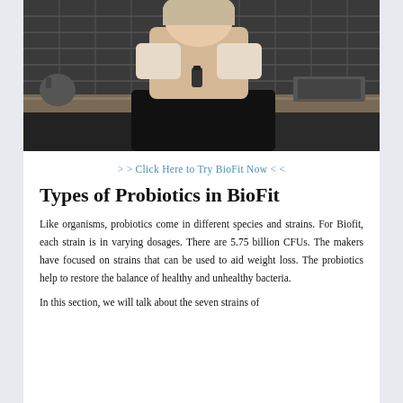[Figure (photo): A overweight woman sitting on a kitchen counter, wearing a beige crop top and black pants, holding a small bottle, with dark tile backsplash in background]
> > Click Here to Try BioFit Now < <
Types of Probiotics in BioFit
Like organisms, probiotics come in different species and strains. For Biofit, each strain is in varying dosages. There are 5.75 billion CFUs. The makers have focused on strains that can be used to aid weight loss. The probiotics help to restore the balance of healthy and unhealthy bacteria.
In this section, we will talk about the seven strains of